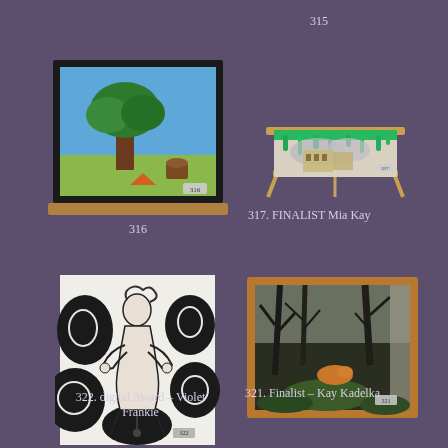315
[Figure (photo): Framed painting on easel showing a tree and landscape scene with blue background, artwork number 316]
316
[Figure (photo): Painting on easel with green and teal drips at top, showing a cityscape/ruins scene, artwork number 317, FINALIST Mia Kay]
317. FINALIST Mia Kay
[Figure (photo): Black and white illustration of a figure surrounded by swirling smoke/clouds, digital artwork, number 322, digital Award – Violet Frankie]
322. digital Award – Violet Frankie
[Figure (photo): Framed painting of a forest/bush scene with dark tree silhouettes and muted greens, artwork number 321, Finalist – Kay Kadelka]
321. Finalist – Kay Kadelka